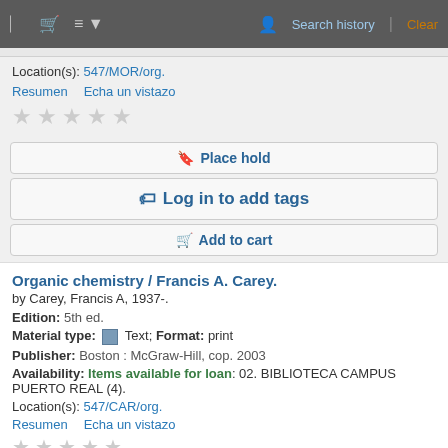Search history | Clear
Location(s): 547/MOR/org.
Resumen   Echa un vistazo
★★★★★ (star rating row)
🔖 Place hold
🏷 Log in to add tags
🛒 Add to cart
Organic chemistry / Francis A. Carey.
by Carey, Francis A, 1937-.
Edition: 5th ed.
Material type: Text; Format: print
Publisher: Boston : McGraw-Hill, cop. 2003
Availability: Items available for loan: 02. BIBLIOTECA CAMPUS PUERTO REAL (4).
Location(s): 547/CAR/org.
Resumen   Echa un vistazo